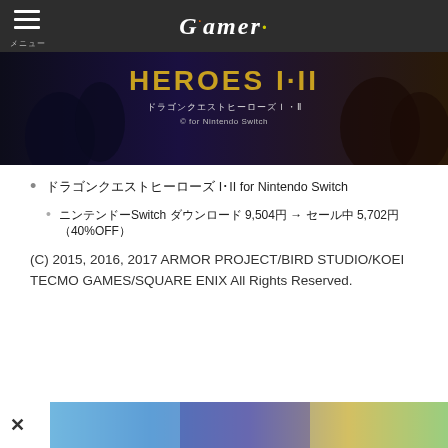Gamer
[Figure (photo): Dragon Quest Heroes I·II for Nintendo Switch promotional banner with game characters and title text]
ドラゴンクエストヒーローズ I·II for Nintendo Switch
ニンテンドーSwitch ダウンロード 9,504円 → セール中 5,702円（40%OFF）
(C) 2015, 2016, 2017 ARMOR PROJECT/BIRD STUDIO/KOEI TECMO GAMES/SQUARE ENIX All Rights Reserved.
[Figure (photo): Another game promotional banner at bottom of page with colorful anime-style characters]